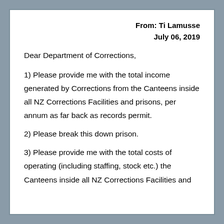From: Ti Lamusse
July 06, 2019
Dear Department of Corrections,
1) Please provide me with the total income generated by Corrections from the Canteens inside all NZ Corrections Facilities and prisons, per annum as far back as records permit.
2) Please break this down prison.
3) Please provide me with the total costs of operating (including staffing, stock etc.) the Canteens inside all NZ Corrections Facilities and